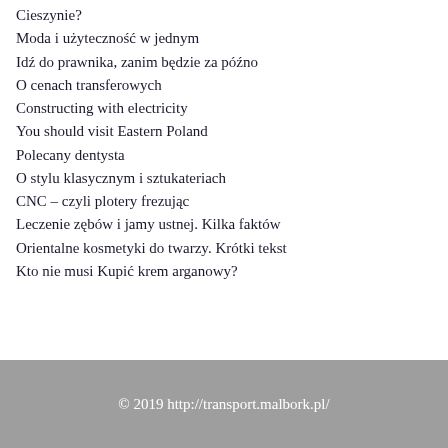Cieszynie?
Moda i użyteczność w jednym
Idź do prawnika, zanim będzie za późno
O cenach transferowych
Constructing with electricity
You should visit Eastern Poland
Polecany dentysta
O stylu klasycznym i sztukateriach
CNC – czyli plotery frezując
Leczenie zębów i jamy ustnej. Kilka faktów
Orientalne kosmetyki do twarzy. Krótki tekst
Kto nie musi Kupić krem arganowy?
© 2019 http://transport.malbork.pl/